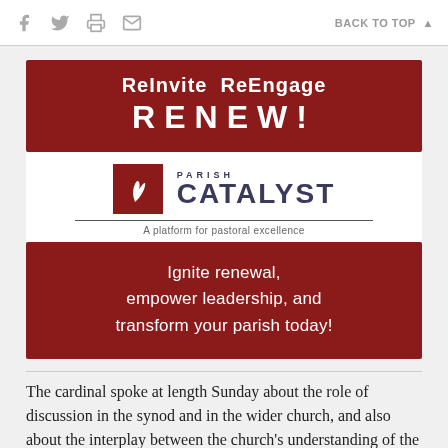f [twitter] [print] [email]    BACK TO TOP ▲
[Figure (logo): ReInvite ReEngage RENEW! banner on dark red background]
[Figure (logo): Parish Catalyst logo - A platform for pastoral excellence]
[Figure (infographic): Dark red banner: Ignite renewal, empower leadership, and transform your parish today!]
The cardinal spoke at length Sunday about the role of discussion in the synod and in the wider church, and also about the interplay between the church's understanding of the concepts of mercy and justice